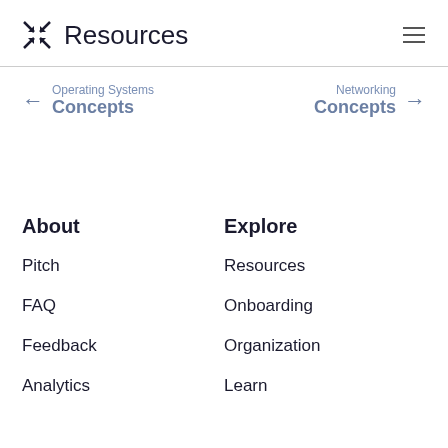Resources
← Operating Systems Concepts
Networking Concepts →
About
Pitch
FAQ
Feedback
Analytics
Explore
Resources
Onboarding
Organization
Learn